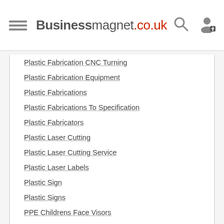Businessmagnet.co.uk
Plastic Fabrication CNC Turning
Plastic Fabrication Equipment
Plastic Fabrications
Plastic Fabrications To Specification
Plastic Fabricators
Plastic Laser Cutting
Plastic Laser Cutting Service
Plastic Laser Labels
Plastic Sign
Plastic Signs
PPE Childrens Face Visors
PPE Face Visors
Prototype Plastic Fabrications
Retail & Commercial Signs
Robot Based Plastic Cutting
Signage